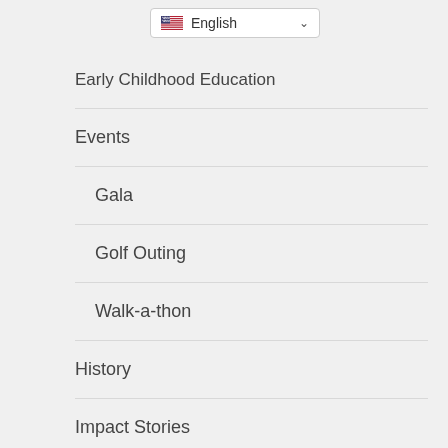[Figure (screenshot): Language selector dropdown showing English with US flag and chevron arrow]
Early Childhood Education
Events
Gala
Golf Outing
Walk-a-thon
History
Impact Stories
In the News
Newsletter